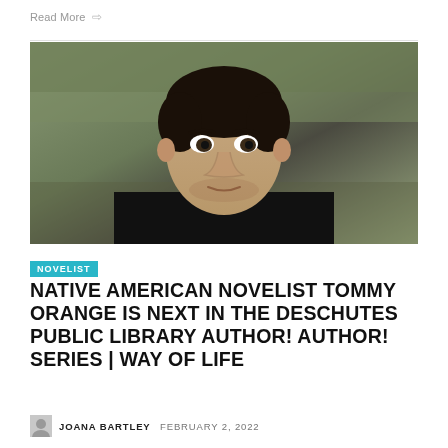Read More →
[Figure (photo): Portrait photo of a man with short dark hair wearing a black shirt, photographed outdoors with blurred natural background of trees and grass]
NOVELIST
NATIVE AMERICAN NOVELIST TOMMY ORANGE IS NEXT IN THE DESCHUTES PUBLIC LIBRARY AUTHOR! AUTHOR! SERIES | WAY OF LIFE
JOANA BARTLEY  FEBRUARY 2, 2022